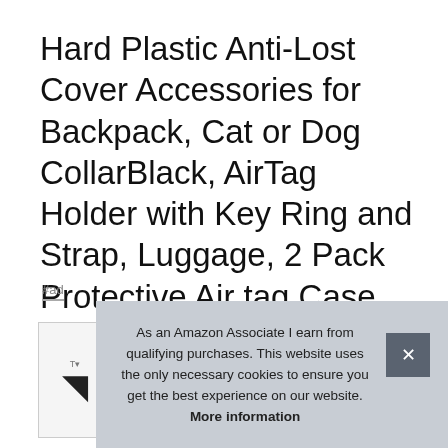Hard Plastic Anti-Lost Cover Accessories for Backpack, Cat or Dog CollarBlack, AirTag Holder with Key Ring and Strap, Luggage, 2 Pack Protective Air tag Case Compatible with Apple Airtags
#ad
[Figure (photo): Partial thumbnail of a product image showing an AirTag case/holder, partially obscured by the cookie banner overlay]
As an Amazon Associate I earn from qualifying purchases. This website uses the only necessary cookies to ensure you get the best experience on our website. More information